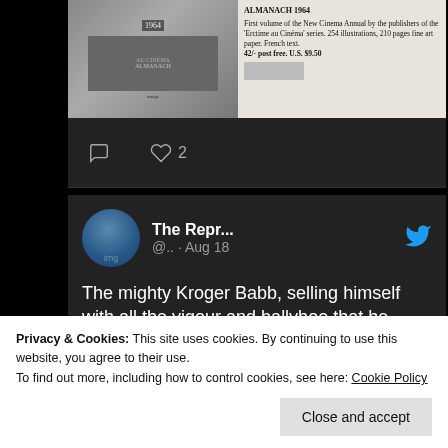[Figure (screenshot): Newspaper advertisement for a Cinema Almanach 1964 publication showing an image on the left and text on the right: 'First volume of the New Cinema Annual by the publishers of the Erctime au Cinema series. 254 illustrations, 210 pages fine art paper. French text. 42/- post free. U.S. $9.50']
[Figure (screenshot): Social media action bar with comment icon and heart/like icon showing count of 2]
[Figure (screenshot): Tweet from 'The Repr...' (@.. · Aug 18) with Twitter bird icon and avatar. Text reads: 'The mighty Kroger Babb, selling himself with all the vigour and ballyhoo that he used to pack out screenings of lurid']
Privacy & Cookies: This site uses cookies. By continuing to use this website, you agree to their use.
To find out more, including how to control cookies, see here: Cookie Policy
Close and accept
[Figure (screenshot): Bottom strip showing Kansas City text and a circular seal/logo]